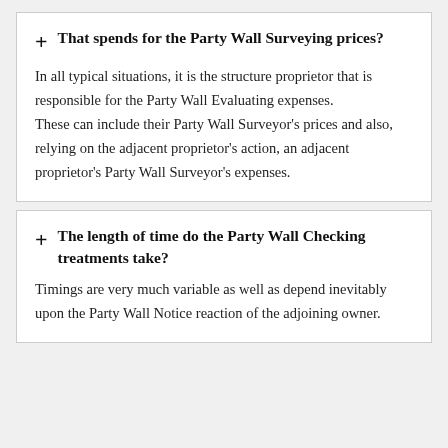That spends for the Party Wall Surveying prices?
In all typical situations, it is the structure proprietor that is responsible for the Party Wall Evaluating expenses. These can include their Party Wall Surveyor's prices and also, relying on the adjacent proprietor's action, an adjacent proprietor's Party Wall Surveyor's expenses.
The length of time do the Party Wall Checking treatments take?
Timings are very much variable as well as depend inevitably upon the Party Wall Notice reaction of the adjoining owner.